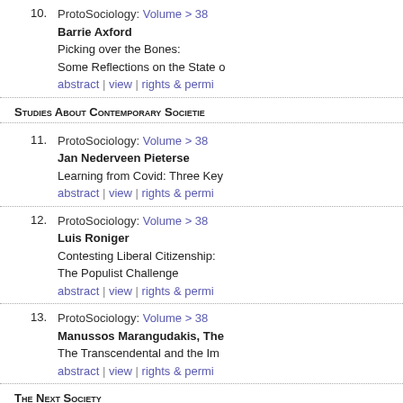10. ProtoSociology: Volume > 38 | Barrie Axford | Picking over the Bones: Some Reflections on the State o... | abstract | view | rights & permi...
Studies About Contemporary Societie...
11. ProtoSociology: Volume > 38 | Jan Nederveen Pieterse | Learning from Covid: Three Key... | abstract | view | rights & permi...
12. ProtoSociology: Volume > 38 | Luis Roniger | Contesting Liberal Citizenship: The Populist Challenge | abstract | view | rights & permi...
13. ProtoSociology: Volume > 38 | Manussos Marangudakis, The... | The Transcendental and the Im... | abstract | view | rights & permi...
The Next Society